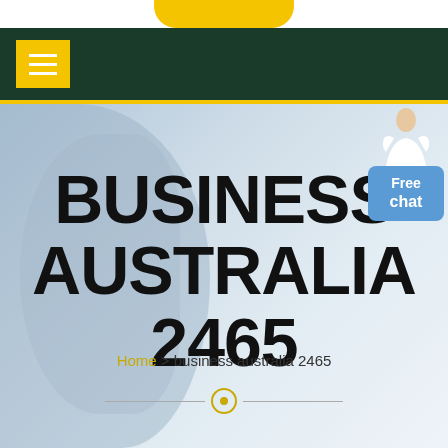[Figure (screenshot): Yellow rounded button at top center of page (navigation element)]
Navigation bar with dark green background and yellow hamburger menu button
[Figure (photo): Hero banner with a tradesperson/worker figure on the left side, light blue-grey gradient background]
BUSINESS AUSTRALIA 2465
Home > business australia 2465
[Figure (infographic): Free chat button widget with a person figure above it, on right side of hero banner]